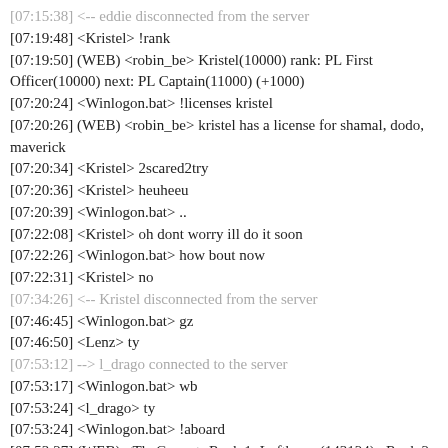[07:15:38] <-- eddie disconnected from the server
[07:19:48] <Kristel> !rank
[07:19:50] (WEB) <robin_be> Kristel(10000) rank: PL First Officer(10000) next: PL Captain(11000) (+1000)
[07:20:24] <Winlogon.bat> !licenses kristel
[07:20:26] (WEB) <robin_be> kristel has a license for shamal, dodo, maverick
[07:20:34] <Kristel> 2scared2try
[07:20:36] <Kristel> heuheeu
[07:20:39] <Winlogon.bat> ..
[07:22:08] <Kristel> oh dont worry ill do it soon
[07:22:26] <Winlogon.bat> how bout now
[07:22:31] <Kristel> no
[07:34:26] <-- Kristel disconnected from the server
[07:46:45] <Winlogon.bat> gz
[07:46:50] <Lenz> ty
[07:53:12] --> l_drago connected to the server
[07:53:17] <Winlogon.bat> wb
[07:53:24] <l_drago> ty
[07:53:24] <Winlogon.bat> !aboard
[07:53:27] (WEB) <TheGamer> Rank 1: Lufthansa(143124) , Rank 2: Sky Air(-23104) , Rank 3: Inverted Airlines(-36040)
[07:55:42] <Jacob> ok thanks for the nuke
[07:56:02] <-- Jacob disconnected from the server
[07:57:42] <-- l_drago disconnected from the server